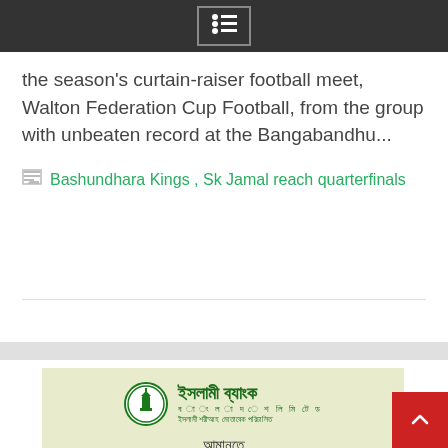Menu icon header bar
the season's curtain-raiser football meet, Walton Federation Cup Football, from the group with unbeaten record at the Bangabandhu...
Bashundhara Kings , Sk Jamal reach quarterfinals
[Figure (illustration): Islami Bank Bangladesh Limited advertisement banner in Bengali. Light yellow-green background with geometric pattern. Logo with green circle/minaret icon. Text in Bengali: 'আমানতে ১ লক্ষ কোটি টাকার মাইলফলক অতিক্রম' (Crossing the milestone of 1 lakh crore taka in deposits).]